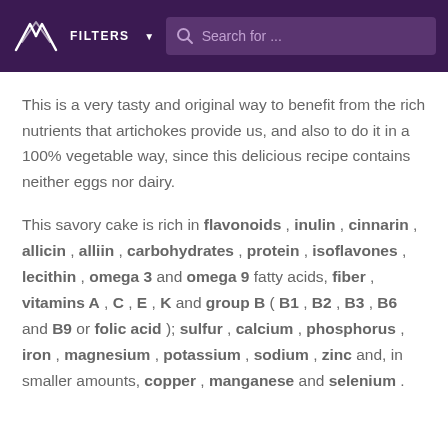FILTERS   Search for ...
This is a very tasty and original way to benefit from the rich nutrients that artichokes provide us, and also to do it in a 100% vegetable way, since this delicious recipe contains neither eggs nor dairy.
This savory cake is rich in flavonoids , inulin , cinnarin , allicin , alliin , carbohydrates , protein , isoflavones , lecithin , omega 3 and omega 9 fatty acids, fiber , vitamins A , C , E , K and group B ( B1 , B2 , B3 , B6 and B9 or folic acid ); sulfur , calcium , phosphorus , iron , magnesium , potassium , sodium , zinc and, in smaller amounts, copper , manganese and selenium .